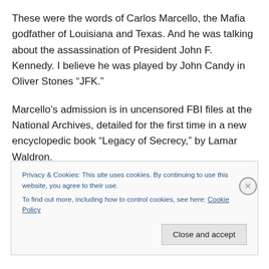These were the words of Carlos Marcello, the Mafia godfather of Louisiana and Texas. And he was talking about the assassination of President John F. Kennedy. I believe he was played by John Candy in Oliver Stones “JFK.”
Marcello’s admission is in uncensored FBI files at the National Archives, detailed for the first time in a new encyclopedic book “Legacy of Secrecy,” by Lamar Waldron.
Privacy & Cookies: This site uses cookies. By continuing to use this website, you agree to their use.
To find out more, including how to control cookies, see here: Cookie Policy